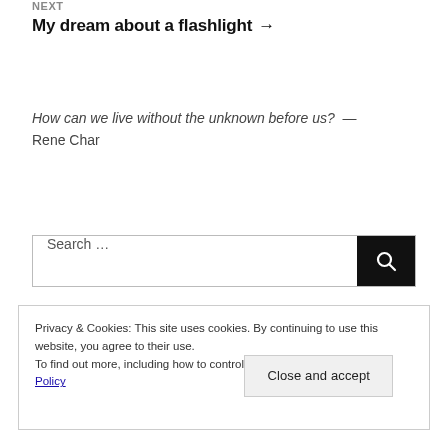NEXT
My dream about a flashlight →
How can we live without the unknown before us?  —  Rene Char
Search …
Privacy & Cookies: This site uses cookies. By continuing to use this website, you agree to their use.
To find out more, including how to control cookies, see here: Cookie Policy
Close and accept